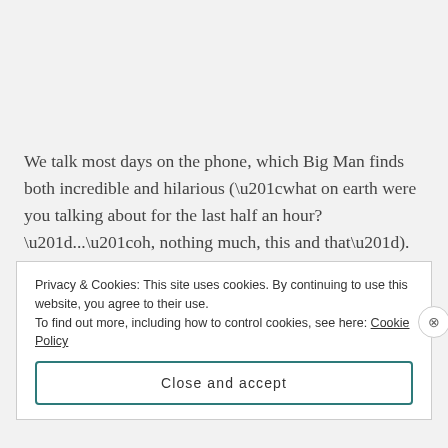We talk most days on the phone, which Big Man finds both incredible and hilarious (“what on earth were you talking about for the last half an hour?”...“oh, nothing much, this and that”). Our conversations invariably end with “so, what’s for dinner tonight?” and we’ll happily chat for a further
Privacy & Cookies: This site uses cookies. By continuing to use this website, you agree to their use.
To find out more, including how to control cookies, see here: Cookie Policy
Close and accept